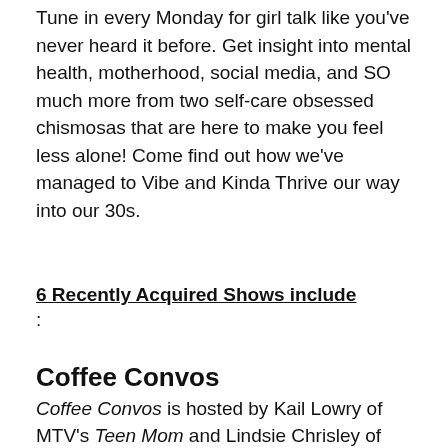Tune in every Monday for girl talk like you've never heard it before. Get insight into mental health, motherhood, social media, and SO much more from two self-care obsessed chismosas that are here to make you feel less alone! Come find out how we've managed to Vibe and Kinda Thrive our way into our 30s.
6 Recently Acquired Shows include
:
Coffee Convos
Coffee Convos is hosted by Kail Lowry of MTV's Teen Mom and Lindsie Chrisley of USA Network's Chrisley Knows Best. These two reality stars come from totally different worlds, but have become close through their shared experiences as mothers, reality stars, and women. They share who they really are and talk about the